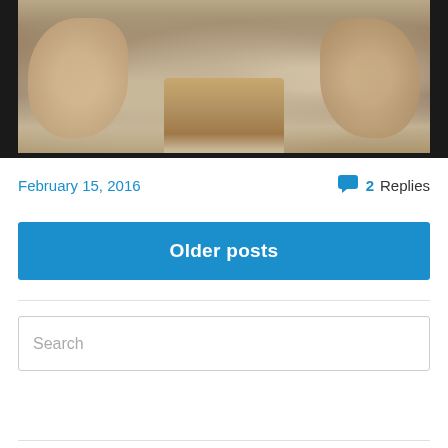[Figure (photo): Fashion photo showing models walking on runway, cropped to show lower body with fur coats and suede boots, flanked by black vertical bars on left and right sides]
February 15, 2016
2 Replies
Older posts
Search